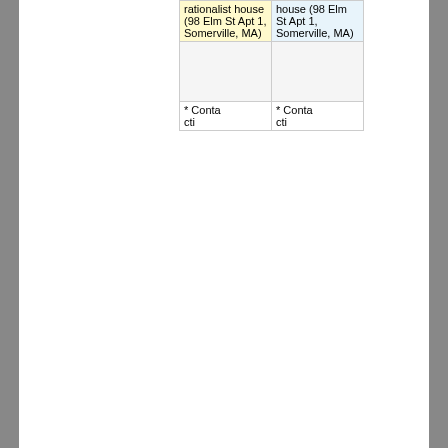| rationalist house (98 Elm St Apt 1, Somerville, MA) | house (98 Elm St Apt 1, Somerville, MA) |
|  |  |
| * Contacting | * Contacting |